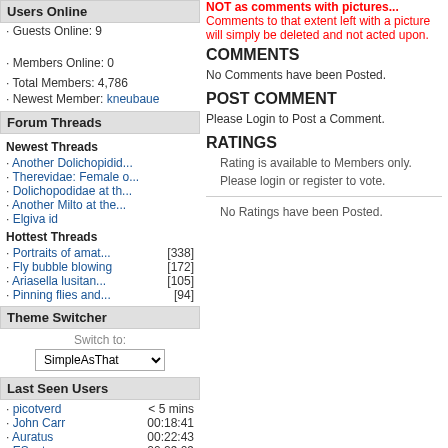Users Online
· Guests Online: 9
· Members Online: 0
· Total Members: 4,786
· Newest Member: kneubaue
Forum Threads
Newest Threads
· Another Dolichopidid...
· Therevidae: Female o...
· Dolichopodidae at th...
· Another Milto at the...
· Elgiva id
Hottest Threads
· Portraits of amat... [338]
· Fly bubble blowing [172]
· Ariasella lusitan... [105]
· Pinning flies and... [94]
Theme Switcher
Switch to: SimpleAsThat
Last Seen Users
· picotverd < 5 mins
· John Carr 00:18:41
· Auratus 00:22:43
· ESant 00:29:09
· kuv 01:51:37
· Carnifex 02:00:22
· Zeegers 02:01:38
· weia 02:37:46
· maroo 03:13:20
· RamiP 03:31:29
NOT as comments with pictures... Comments to that extent left with a picture will simply be deleted and not acted upon.
COMMENTS
No Comments have been Posted.
POST COMMENT
Please Login to Post a Comment.
RATINGS
Rating is available to Members only.
Please login or register to vote.
No Ratings have been Posted.